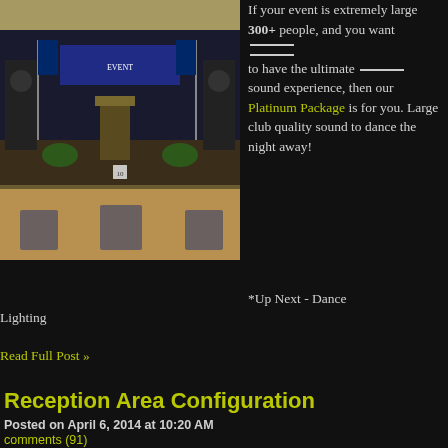[Figure (photo): Event hall with a raised stage, podium, speakers, American flags, chairs in foreground, dark curtains in background]
If your event is extremely large 300+ people, and you want to have the ultimate sound experience, then our Platinum Package is for you. Large club quality sound to dance the night away!
*Up Next - Dance Lighting
Read Full Post »
Reception Area Configuration
Posted on April 6, 2014 at 10:20 AM
comments (91)
When planning your big day, one of the most important things to get right is the reception venue and its configuration. Over the years, I have seen some great ones, and some awful ones. Many couples, planners, and venues make a great effort in determining the room size and configurations based on the number of anticipated guests, but place lesser emphasis upon guest/event